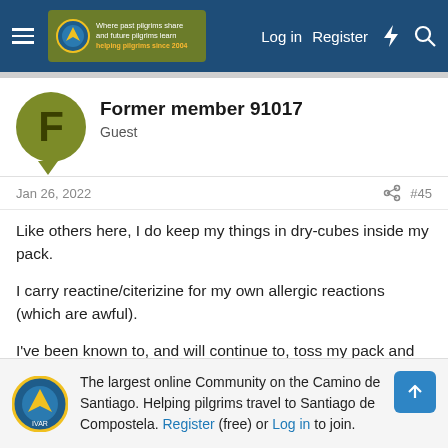Log in  Register
Former member 91017
Guest
Jan 26, 2022  #45
Like others here, I do keep my things in dry-cubes inside my pack.
I carry reactine/citerizine for my own allergic reactions (which are awful).
I've been known to, and will continue to, toss my pack and contents into one of the *large* machines in the public laundromats... hot as it will go. Then everything into the dryer
The largest online Community on the Camino de Santiago. Helping pilgrims travel to Santiago de Compostela. Register (free) or Log in to join.